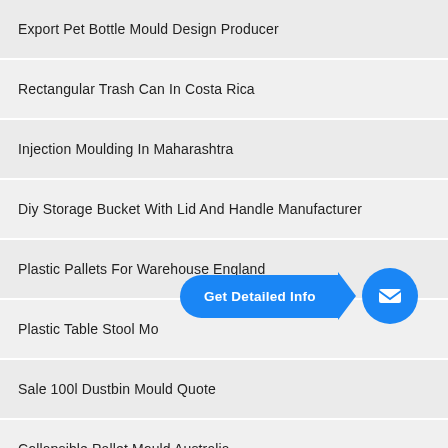Export Pet Bottle Mould Design Producer
Rectangular Trash Can In Costa Rica
Injection Moulding In Maharashtra
Diy Storage Bucket With Lid And Handle Manufacturer
Plastic Pallets For Warehouse England
Plastic Table Stool Mo...
Sale 100l Dustbin Mould Quote
Collapsible Pallet Mould Australia
Shampoo Cap Mould Iraq
3 Gallon Plastic Buckets With Lids Armenia